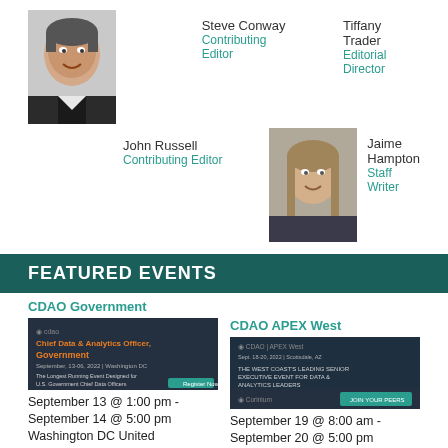[Figure (photo): Headshot of Steve Conway, male, smiling, dark jacket]
Steve Conway
Contributing Editor
Tiffany Trader
Editorial Director
John Russell
Contributing Editor
[Figure (photo): Headshot of Jaime Hampton, female, long hair, smiling]
Jaime Hampton
Staff Writer
FEATURED EVENTS
CDAO Government
[Figure (photo): CDAO Government event banner image, dark background with text Chief Data & Analytics Officer, Government]
September 13 @ 1:00 pm - September 14 @ 5:00 pm
Washington DC United States
CDAO APEX West
[Figure (photo): CDAO APEX West event banner image, dark background]
September 19 @ 8:00 am - September 20 @ 5:00 pm
Future of Mining Americas 2022
DMWF North America